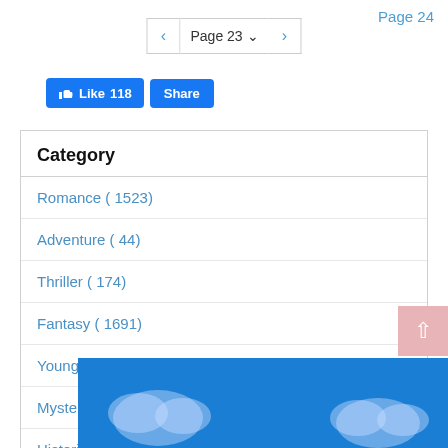Page 24
[Figure (screenshot): Pagination control showing Page 23 with previous and next arrow buttons]
[Figure (screenshot): Facebook Like (118) and Share buttons]
| Category |
| --- |
| Romance ( 1523) |
| Adventure ( 44) |
| Thriller ( 174) |
| Fantasy ( 1691) |
| Young Adult ( 859) |
| Mystery ( 396) |
| Historical ( 145) |
| Horror |
| Sci... |
[Figure (illustration): Blue sky with clouds advertisement banner at bottom of page]